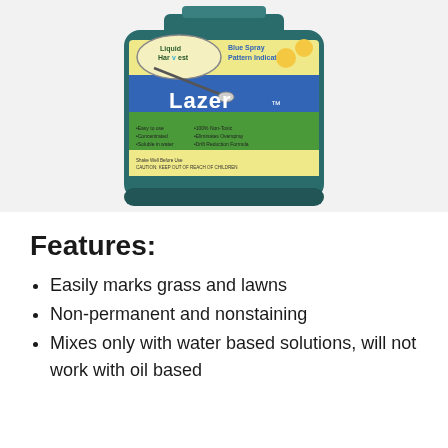[Figure (photo): Product photo of Liquid Harvest Lazer Blue Spray Pattern Indicator in a dark teal/green plastic bottle with a label showing the brand name, product features, and imagery of grass and dandelions.]
Features:
Easily marks grass and lawns
Non-permanent and nonstaining
Mixes only with water based solutions, will not work with oil based